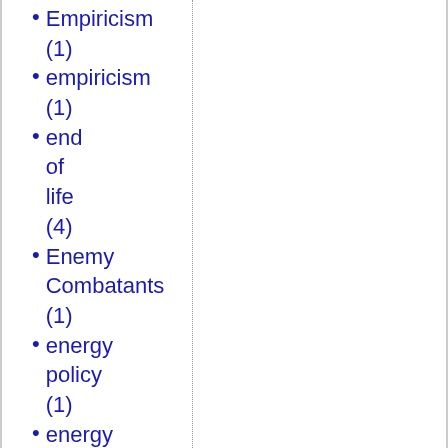Empiricism (1)
empiricism (1)
end of life (4)
Enemy Combatants (1)
energy policy (1)
energy revolution (1)
Energy Scarcity (1)
England (19)
English (2)
environmentalism